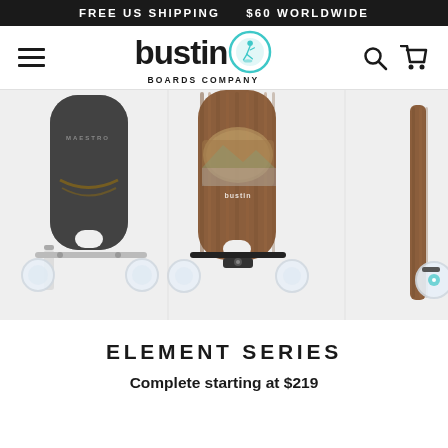FREE US SHIPPING    $60 WORLDWIDE
[Figure (logo): Bustin Boards Company logo with teal circle icon and hamburger menu, search and cart icons]
[Figure (photo): Three Bustin longboard skateboards shown from above/side: a dark grey board (Maestro), a brown wood-grain board, and a side profile of a brown board, all with white wheels and black trucks]
ELEMENT SERIES
Complete starting at $219